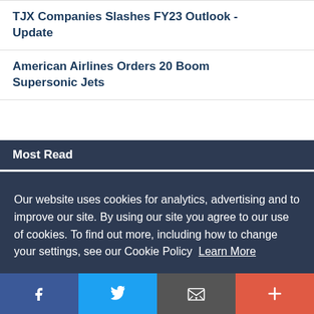TJX Companies Slashes FY23 Outlook - Update
American Airlines Orders 20 Boom Supersonic Jets
Most Read
Our website uses cookies for analytics, advertising and to improve our site. By using our site you agree to our use of cookies. To find out more, including how to change your settings, see our Cookie Policy  Learn More
OK